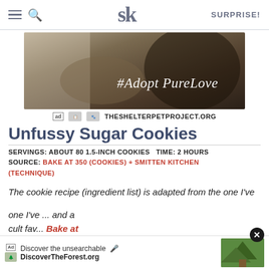SK SURPRISE!
[Figure (photo): Advertisement photo: man looking at a cat through a window, with text '#Adopt PureLove' overlaid in cursive white script. Below shows 'ad' badge and logos with text THESHELTERPETPROJECT.ORG]
Unfussy Sugar Cookies
SERVINGS: ABOUT 80 1.5-INCH COOKIES  TIME: 2 HOURS
SOURCE: BAKE AT 350 (COOKIES) + SMITTEN KITCHEN (TECHNIQUE)
The cookie recipe (ingredient list) is adapted from the one I've ... and a cult fav... Bake at
[Figure (screenshot): Bottom banner ad: 'Discover the unsearchable' with microphone icon. DiscoverTheForest.org with forest image on right and close button.]